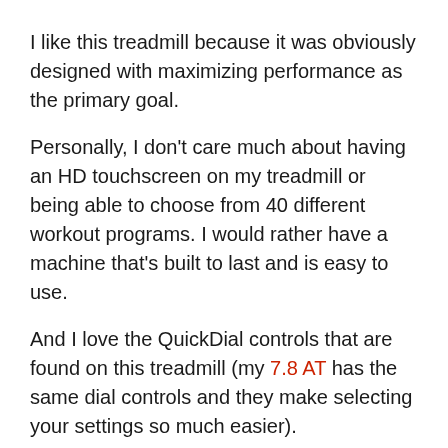I like this treadmill because it was obviously designed with maximizing performance as the primary goal.
Personally, I don't care much about having an HD touchscreen on my treadmill or being able to choose from 40 different workout programs. I would rather have a machine that's built to last and is easy to use.
And I love the QuickDial controls that are found on this treadmill (my 7.8 AT has the same dial controls and they make selecting your settings so much easier).
If you're looking for a treadmill with tons of workout programs and a fancy console, the 7.0 AT probably isn't the right choice for ya.
But if you're looking for a rock solid machine with impressive numbers where it really counts, the Horizon